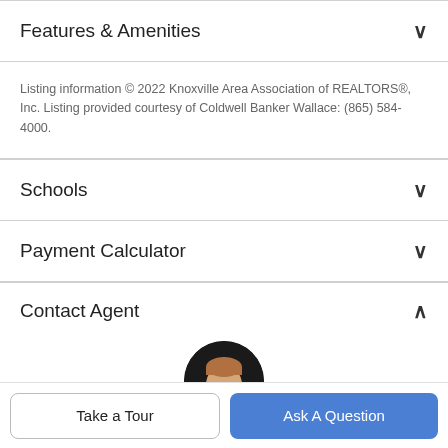Features & Amenities
Listing information © 2022 Knoxville Area Association of REALTORS®, Inc. Listing provided courtesy of Coldwell Banker Wallace: (865) 584-4000.
Schools
Payment Calculator
Contact Agent
[Figure (photo): Circular headshot of a male real estate agent on dark background]
Take a Tour
Ask A Question